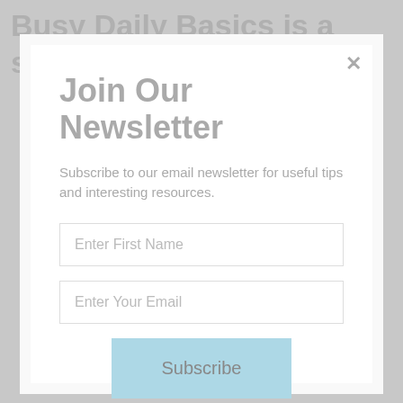Busy Daily Basics is a series of
Join Our Newsletter
Subscribe to our email newsletter for useful tips and interesting resources.
Enter First Name
Enter Your Email
Subscribe
And don't worry, we hate spam too! You can unsubscribe at anytime.